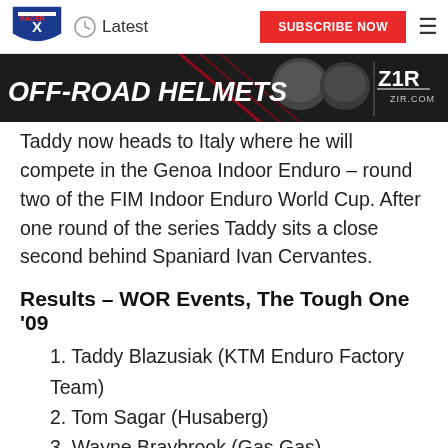Latest | SUBSCRIBE NOW
[Figure (illustration): Z1R OFF-ROAD HELMETS advertisement banner with helmets and Z1R logo on dark background]
Taddy now heads to Italy where he will compete in the Genoa Indoor Enduro – round two of the FIM Indoor Enduro World Cup. After one round of the series Taddy sits a close second behind Spaniard Ivan Cervantes.
Results – WOR Events, The Tough One '09
1. Taddy Blazusiak (KTM Enduro Factory Team)
2. Tom Sagar (Husaberg)
3. Wayne Braybrook (Gas Gas)
Taddy Blazusiak:
“The Tough One was the one extreme event missing